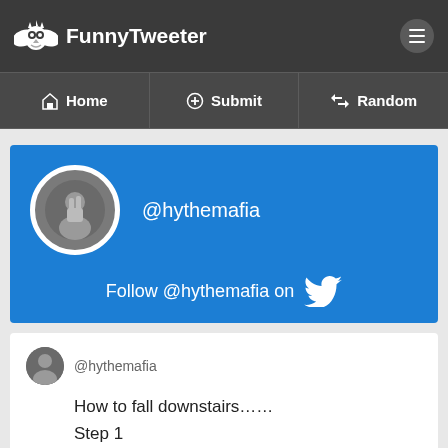FunnyTweeter — Home | Submit | Random
[Figure (screenshot): FunnyTweeter website screenshot showing navigation bar with logo, Home/Submit/Random links, a blue Twitter profile card for @hythemafia with Follow button, and a tweet card showing 'How to fall downstairs…… Step 1 Step 6']
@hythemafia
Follow @hythemafia on
@hythemafia
How to fall downstairs…… Step 1 Step 6